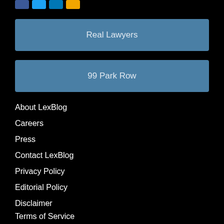[Figure (other): Social media icon buttons (Facebook, Twitter, LinkedIn, YouTube) partially visible at top]
Real Lawyers
99 Park Row
About LexBlog
Careers
Press
Contact LexBlog
Privacy Policy
Editorial Policy
Disclaimer
Terms of Service
RSS Terms of Service